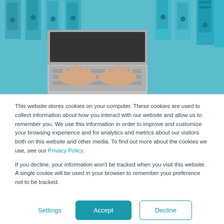[Figure (photo): Top-down photo of hands typing on a laptop keyboard, surrounded by blue ring binders/folders on a teal background.]
This website stores cookies on your computer. These cookies are used to collect information about how you interact with our website and allow us to remember you. We use this information in order to improve and customize your browsing experience and for analytics and metrics about our visitors both on this website and other media. To find out more about the cookies we use, see our Privacy Policy.
If you decline, your information won't be tracked when you visit this website. A single cookie will be used in your browser to remember your preference not to be tracked.
Settings
Accept
Decline